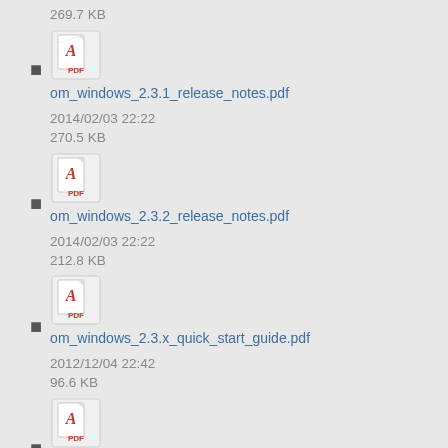269.7 KB
om_windows_2.3.1_release_notes.pdf
2014/02/03 22:22
270.5 KB
om_windows_2.3.2_release_notes.pdf
2014/02/03 22:22
212.8 KB
om_windows_2.3.x_quick_start_guide.pdf
2012/12/04 22:42
96.6 KB
om_windows_2.4.x_quick_start_guide.pdf